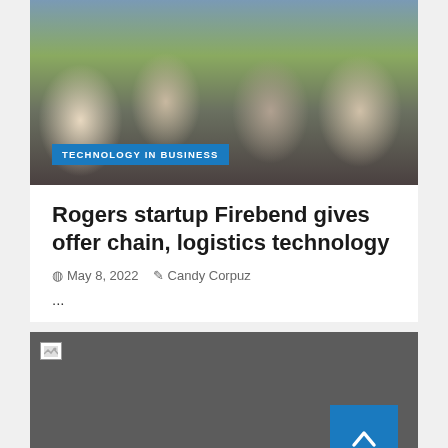[Figure (photo): Group photo of four business professionals (one woman, three men) seated and standing around a conference table in an office setting]
TECHNOLOGY IN BUSINESS
Rogers startup Firebend gives offer chain, logistics technology
May 8, 2022   Candy Corpuz
...
[Figure (photo): Second article image - broken/unloaded image placeholder on dark grey background]